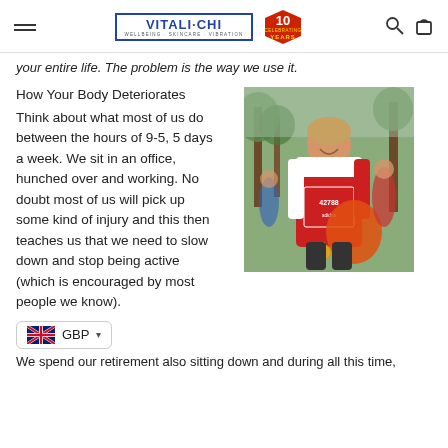VITALI-CHI WELLBEING - SKINCARE - VIBRATION | Celebrating 10 YEARS
your entire life. The problem is the way we use it.
How Your Body Deteriorates
Think about what most of us do between the hours of 9-5, 5 days a week. We sit in an office, hunched over and working. No doubt most of us will pick up some kind of injury and this then teaches us that we need to slow down and stop being active (which is encouraged by most people we know).
[Figure (photo): A man wearing a red running vest with race number 42788 and adidas sponsorship, holding medals and an orange bag, smiling at a marathon event with trees in the background.]
GBP
We spend our retirement also sitting down and during all this time,